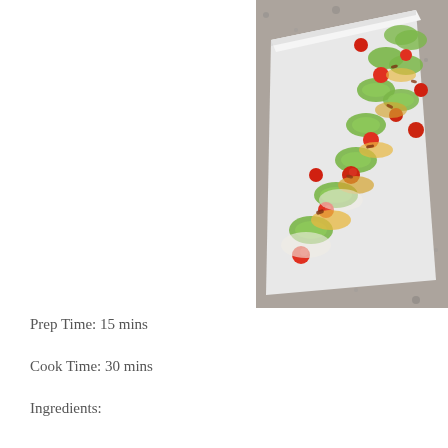[Figure (photo): A white rectangular serving plate topped with sliced zucchini rounds, cherry tomatoes, melted cheese, and bacon bits, arranged on a granite countertop.]
Prep Time: 15 mins
Cook Time: 30 mins
Ingredients: